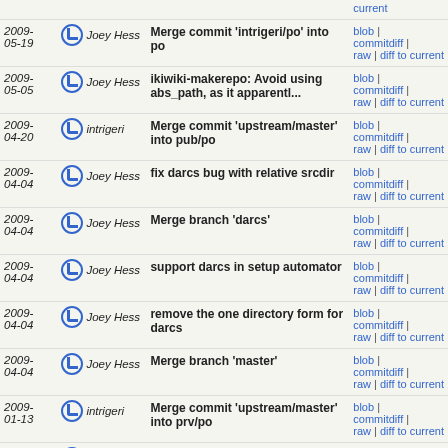| Date | Author | Commit | Links |
| --- | --- | --- | --- |
| 2009-05-19 | Joey Hess | Merge commit 'intrigeri/po' into po | blob | commitdiff | raw | diff to current |
| 2009-05-05 | Joey Hess | ikiwiki-makerepo: Avoid using abs_path, as it apparentl... | blob | commitdiff | raw | diff to current |
| 2009-04-20 | intrigeri | Merge commit 'upstream/master' into pub/po | blob | commitdiff | raw | diff to current |
| 2009-04-04 | Joey Hess | fix darcs bug with relative srcdir | blob | commitdiff | raw | diff to current |
| 2009-04-04 | Joey Hess | Merge branch 'darcs' | blob | commitdiff | raw | diff to current |
| 2009-04-04 | Joey Hess | support darcs in setup automator | blob | commitdiff | raw | diff to current |
| 2009-04-04 | Joey Hess | remove the one directory form for darcs | blob | commitdiff | raw | diff to current |
| 2009-04-04 | Joey Hess | Merge branch 'master' | blob | commitdiff | raw | diff to current |
| 2009-01-13 | intrigeri | Merge commit 'upstream/master' into prv/po | blob | commitdiff | raw | diff to current |
| 2009-01-02 | Joey Hess | Merge branch 'master' of ssh://git.ikiwiki.info/srv... | blob | commitdiff | raw | diff to current |